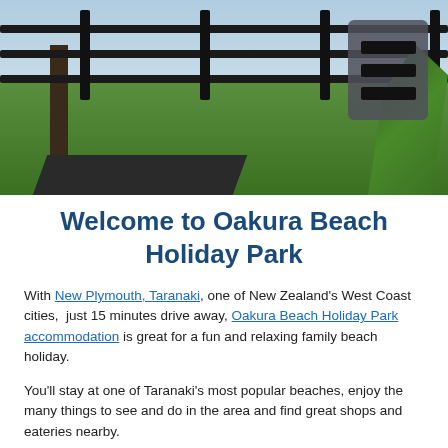[Figure (photo): Outdoor photo of a park or holiday grounds showing green grass, dark fence rails and posts, a tree trunk on the left, tropical/flax plants on the right, a dark paved path, and a light sky in the background. A hamburger menu icon (three dark bars on a grey rounded rectangle) appears in the top-right corner.]
Welcome to Oakura Beach Holiday Park
With New Plymouth, Taranaki, one of New Zealand's West Coast cities,  just 15 minutes drive away, Oakura Beach Holiday Park accommodation is great for a fun and relaxing family beach holiday.
You'll stay at one of Taranaki's most popular beaches, enjoy the many things to see and do in the area and find great shops and eateries nearby.
Oakura Beach Holiday Park, where the surf rolls in from the Tasman Sea, offers fantastic beachfront holiday accommodation and a great choice of Oakura campsites,